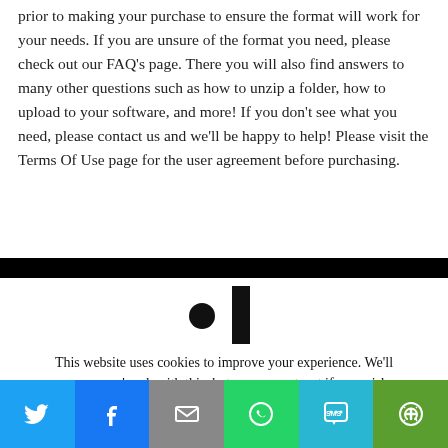prior to making your purchase to ensure the format will work for your needs. If you are unsure of the format you need, please check out our FAQ's page. There you will also find answers to many other questions such as how to unzip a folder, how to upload to your software, and more! If you don't see what you need, please contact us and we'll be happy to help! Please visit the Terms Of Use page for the user agreement before purchasing.
[Figure (logo): Partial logo visible: a dot and vertical bar shape, resembling part of a brand logo on white background]
This website uses cookies to improve your experience. We'll assume you're ok with this, but you can opt-out if you wish.
[Figure (infographic): Social media share bar with six buttons: Twitter (blue), Facebook (dark blue), Email (gray), WhatsApp (green), SMS (cyan), and More (dark green)]